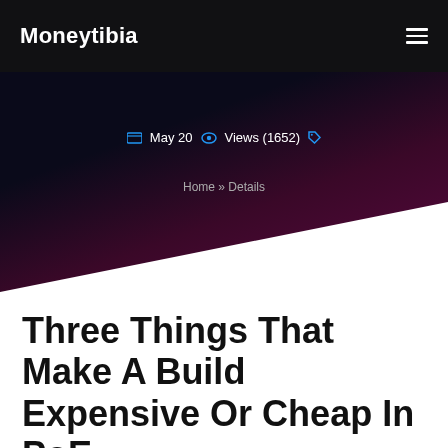Moneytibia
May 20  Views (1652)
Home » Details
Three Things That Make A Build Expensive Or Cheap In PoE
In Path of Exile, if you are a new players, you may don't see the difference in builds. What make a build expensive or cheap? What separates a noob friendly build from a